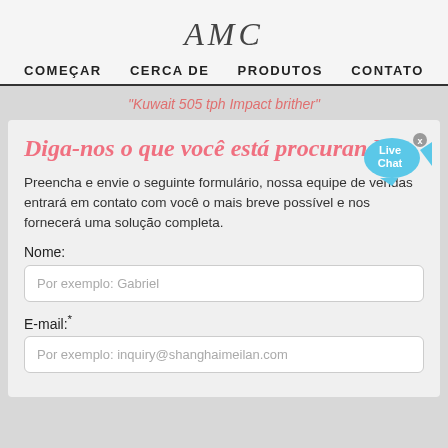AMC
COMEÇAR   CERCA DE   PRODUTOS   CONTATO
"Kuwait 505 tph Impact brither"
Diga-nos o que você está procurando!
Preencha e envie o seguinte formulário, nossa equipe de vendas entrará em contato com você o mais breve possível e nos fornecerá uma solução completa.
Nome:
Por exemplo: Gabriel
E-mail:*
Por exemplo: inquiry@shanghaimeilan.com